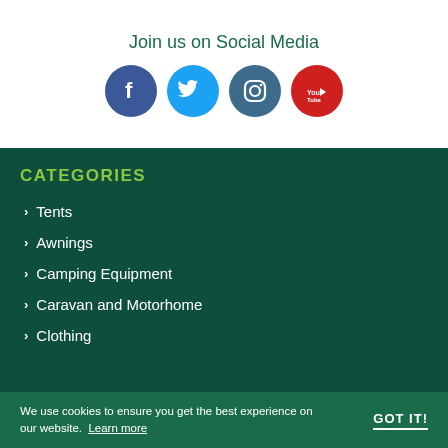Join us on Social Media
[Figure (illustration): Four social media icons: Facebook (blue circle), Twitter (light blue circle), Instagram (dark teal circle), YouTube (red circle)]
CATEGORIES
Tents
Awnings
Camping Equipment
Caravan and Motorhome
Clothing
We use cookies to ensure you get the best experience on our website. Learn more GOT IT!